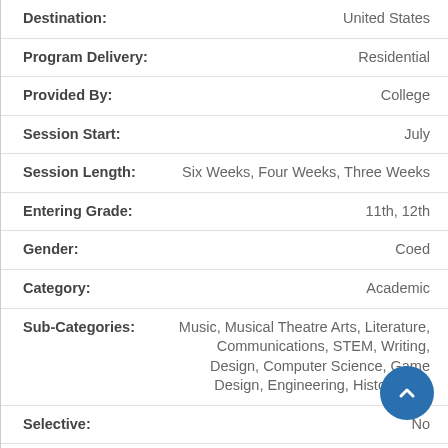Destination: United States
Program Delivery: Residential
Provided By: College
Session Start: July
Session Length: Six Weeks, Four Weeks, Three Weeks
Entering Grade: 11th, 12th
Gender: Coed
Category: Academic
Sub-Categories: Music, Musical Theatre Arts, Literature, Communications, STEM, Writing, Design, Computer Science, Game Design, Engineering, History, Arts
Selective: No
Ages: 16, 17
Minimum Cost: > $3,000
Affiliation: Phillips Andover Summer